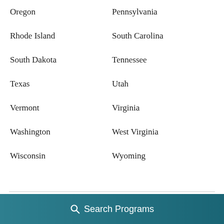Oregon
Pennsylvania
Rhode Island
South Carolina
South Dakota
Tennessee
Texas
Utah
Vermont
Virginia
Washington
West Virginia
Wisconsin
Wyoming
Search Programs